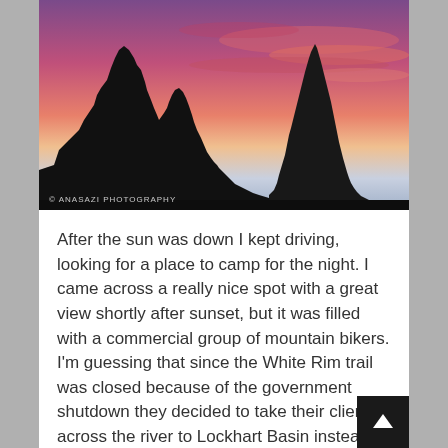[Figure (photo): Silhouette of jagged rock formations against a vivid pink and purple sunset sky. Watermark reads '© Anasazi Photography' in lower left.]
After the sun was down I kept driving, looking for a place to camp for the night. I came across a really nice spot with a great view shortly after sunset, but it was filled with a commercial group of mountain bikers. I'm guessing that since the White Rim trail was closed because of the government shutdown they decided to take their clients across the river to Lockhart Basin instead. I kept driving until just before twilight was over before I came across a short spur road that led to a nice place to camp.